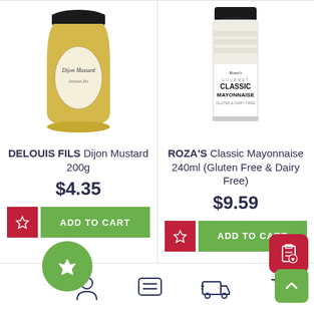[Figure (photo): Jar of Dijon Mustard (DELOUIS FILS brand), glass jar with black lid and cream/gold label]
DELOUIS FILS Dijon Mustard 200g
$4.35
[Figure (photo): Jar of Roza's Gourmet Classic Mayonnaise 240ml, clear glass jar with white label, black lid]
ROZA'S Classic Mayonnaise 240ml (Gluten Free & Dairy Free)
$9.59
[Figure (infographic): Bottom navigation bar with icons: crowned circle (green), person/account, chat/message, delivery truck, shopping cart. Also scroll-to-top green button and red clipboard/list button.]